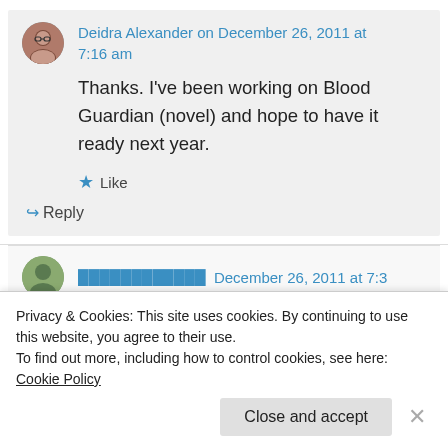Deidra Alexander on December 26, 2011 at 7:16 am
Thanks. I've been working on Blood Guardian (novel) and hope to have it ready next year.
Like
Reply
Privacy & Cookies: This site uses cookies. By continuing to use this website, you agree to their use. To find out more, including how to control cookies, see here: Cookie Policy
Close and accept